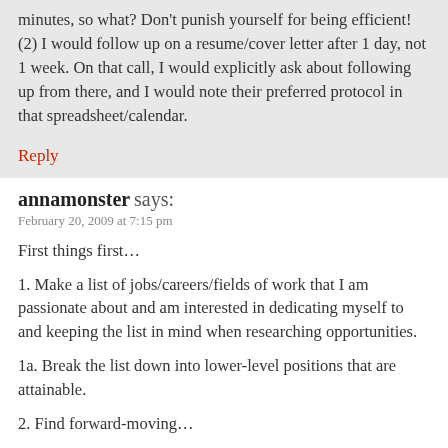minutes, so what? Don't punish yourself for being efficient! (2) I would follow up on a resume/cover letter after 1 day, not 1 week. On that call, I would explicitly ask about following up from there, and I would note their preferred protocol in that spreadsheet/calendar.
Reply
annamonster says:
February 20, 2009 at 7:15 pm
First things first…
1. Make a list of jobs/careers/fields of work that I am passionate about and am interested in dedicating myself to and keeping the list in mind when researching opportunities.
1a. Break the list down into lower-level positions that are attainable.
2. Find forward-moving…